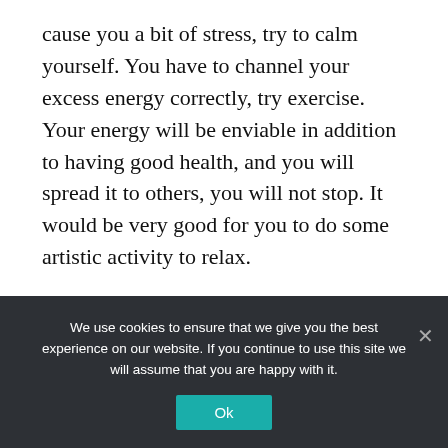cause you a bit of stress, try to calm yourself. You have to channel your excess energy correctly, try exercise. Your energy will be enviable in addition to having good health, and you will spread it to others, you will not stop. It would be very good for you to do some artistic activity to relax.
Sagittarius
Avoid disputes in the labor field, Sagittarius, and you will be fine, calm down. Take good advantage of all the opportunities that will arise
We use cookies to ensure that we give you the best experience on our website. If you continue to use this site we will assume that you are happy with it.